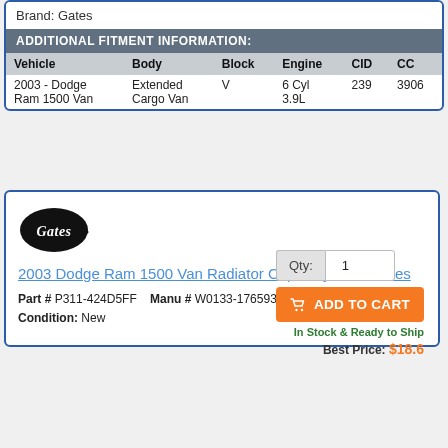Brand: Gates
ADDITIONAL FITMENT INFORMATION:
| Vehicle | Body | Block | Engine | CID | CC |
| --- | --- | --- | --- | --- | --- |
| 2003 - Dodge Ram 1500 Van | Extended Cargo Van | V | 6 Cyl 3.9L | 239 | 3906 |
[Figure (logo): Gates brand logo - black oval with script text]
2003 Dodge Ram 1500 Van Radiator Cap 6 Cyl 3.9L Gates
Part # P311-424D5FF   Manu # W0133-1765933
Condition: New
Qty: 1
ADD TO CART
In Stock & Ready to Ship
Best Price: $18.6